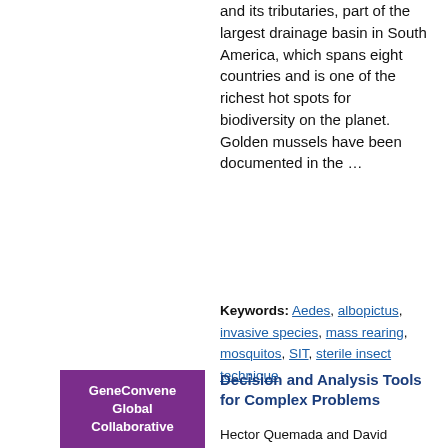and its tributaries, part of the largest drainage basin in South America, which spans eight countries and is one of the richest hot spots for biodiversity on the planet. Golden mussels have been documented in the …
Keywords: Aedes, albopictus, invasive species, mass rearing, mosquitos, SIT, sterile insect technique
[Figure (logo): Purple square logo with white bold text reading 'GeneConvene Global Collaborative']
Decision and Analysis Tools for Complex Problems
Hector Quemada and David O'Brochta,